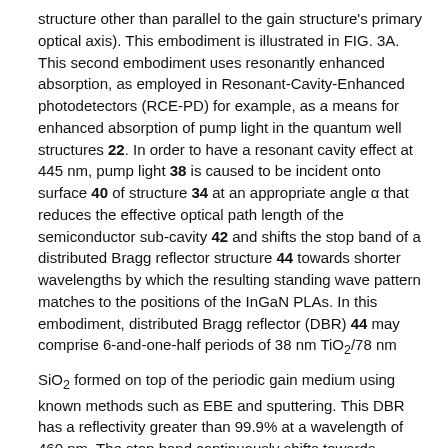structure other than parallel to the gain structure's primary optical axis). This embodiment is illustrated in FIG. 3A. This second embodiment uses resonantly enhanced absorption, as employed in Resonant-Cavity-Enhanced photodetectors (RCE-PD) for example, as a means for enhanced absorption of pump light in the quantum well structures 22. In order to have a resonant cavity effect at 445 nm, pump light 38 is caused to be incident onto surface 40 of structure 34 at an appropriate angle α that reduces the effective optical path length of the semiconductor sub-cavity 42 and shifts the stop band of a distributed Bragg reflector structure 44 towards shorter wavelengths by which the resulting standing wave pattern matches to the positions of the InGaN PLAs. In this embodiment, distributed Bragg reflector (DBR) 44 may comprise 6-and-one-half periods of 38 nm TiO2/78 nm
SiO2 formed on top of the periodic gain medium using known methods such as EBE and sputtering. This DBR has a reflectivity greater than 99.9% at a wavelength of 460 nm. The stop band continuously shifts towards shorter wavelengths with increasing incidence angle of the light. Thereby, the resonantly enhanced absorption effect can